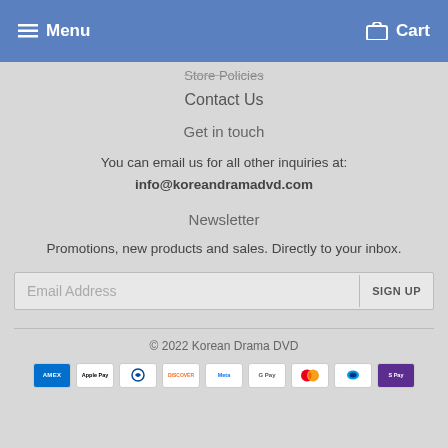Menu  Cart
Store Policies
Contact Us
Get in touch
You can email us for all other inquiries at:
info@koreandramadvd.com
Newsletter
Promotions, new products and sales. Directly to your inbox.
Email Address  SIGN UP
© 2022 Korean Drama DVD